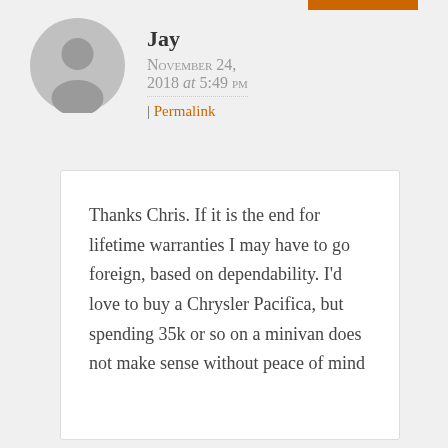[Figure (illustration): Gray circular avatar placeholder icon with a silhouette of a person]
Jay
November 24, 2018 at 5:49 pm
| Permalink
Thanks Chris. If it is the end for lifetime warranties I may have to go foreign, based on dependability. I'd love to buy a Chrysler Pacifica, but spending 35k or so on a minivan does not make sense without peace of mind